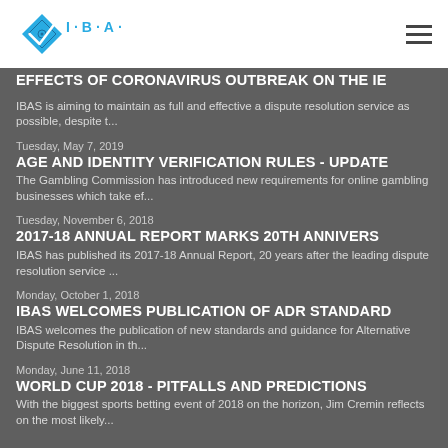IBAS logo and navigation
EFFECTS OF CORONAVIRUS OUTBREAK ON THE IE
IBAS is aiming to maintain as full and effective a dispute resolution service as possible, despite t...
Tuesday, May 7, 2019
AGE AND IDENTITY VERIFICATION RULES - UPDATE
The Gambling Commission has introduced new requirements for online gambling businesses which take ef...
Tuesday, November 6, 2018
2017-18 ANNUAL REPORT MARKS 20TH ANNIVERS
IBAS has published its 2017-18 Annual Report, 20 years after the leading dispute resolution service ...
Monday, October 1, 2018
IBAS WELCOMES PUBLICATION OF ADR STANDARD
IBAS welcomes the publication of new standards and guidance for Alternative Dispute Resolution in th...
Monday, June 11, 2018
WORLD CUP 2018 - PITFALLS AND PREDICTIONS
With the biggest sports betting event of 2018 on the horizon, Jim Cremin reflects on the most likely...